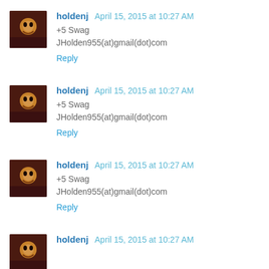holdenj April 15, 2015 at 10:27 AM
+5 Swag
JHolden955(at)gmail(dot)com
Reply
holdenj April 15, 2015 at 10:27 AM
+5 Swag
JHolden955(at)gmail(dot)com
Reply
holdenj April 15, 2015 at 10:27 AM
+5 Swag
JHolden955(at)gmail(dot)com
Reply
holdenj April 15, 2015 at 10:27 AM